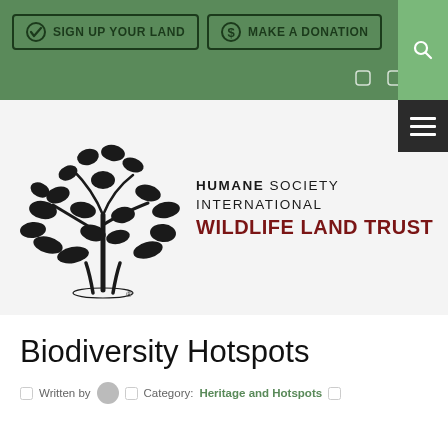SIGN UP YOUR LAND | MAKE A DONATION
[Figure (logo): Humane Society International Wildlife Land Trust logo — a tree formed by silhouettes of various animals, with text 'HUMANE SOCIETY INTERNATIONAL WILDLIFE LAND TRUST']
Biodiversity Hotspots
Written by  Category: Heritage and Hotspots